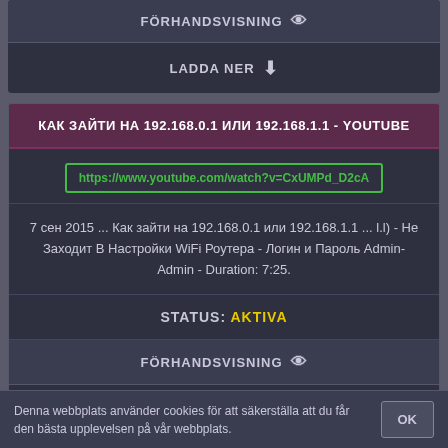FÖRHANDSVISNING 👁
LADDA NER ⬇
КАК ЗАЙТИ НА 192.168.0.1 ИЛИ 192.168.1.1 - YOUTUBE
https://www.youtube.com/watch?v=CxUMPd_D2cA
7 сен 2015 ... Как зайти на 192.168.0.1 или 192.168.1.1 ... l.l) - Не Заходит В Настройки WiFi Роутера - Логин и Пароль Admin-Admin - Duration: 7:25.
STATUS: AKTIVA
FÖRHANDSVISNING 👁
LADDA NER ⬇
Denna webbplats använder cookies för att säkerställa att du får den bästa upplevelsen på vår webbplats.